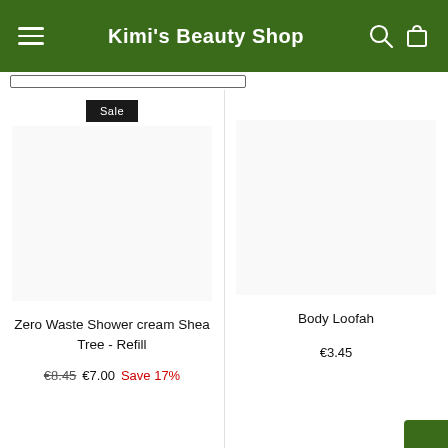Kimi's Beauty Shop
[Figure (screenshot): Sale badge label in dark/black background with white text 'Sale']
[Figure (photo): Product image placeholder for Zero Waste Shower cream Shea Tree - Refill]
Zero Waste Shower cream Shea Tree - Refill
€8.45  €7.00  Save 17%
[Figure (photo): Product image placeholder for Body Loofah]
Body Loofah
€3.45